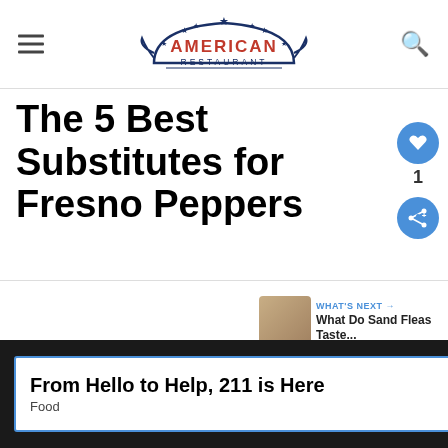American Restaurant
The 5 Best Substitutes for Fresno Peppers
WHAT'S NEXT → What Do Sand Fleas Taste...
If you're a fan of spice, you've probably
From Hello to Help, 211 is Here
Food